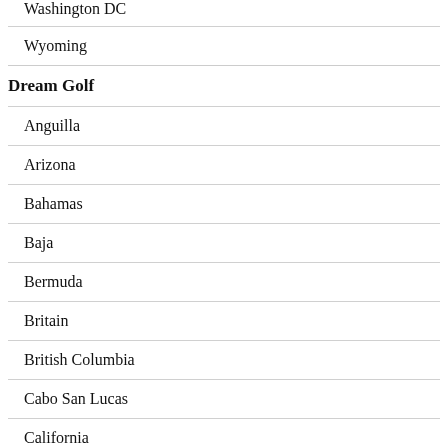Washington DC
Wyoming
Dream Golf
Anguilla
Arizona
Bahamas
Baja
Bermuda
Britain
British Columbia
Cabo San Lucas
California
Cancun